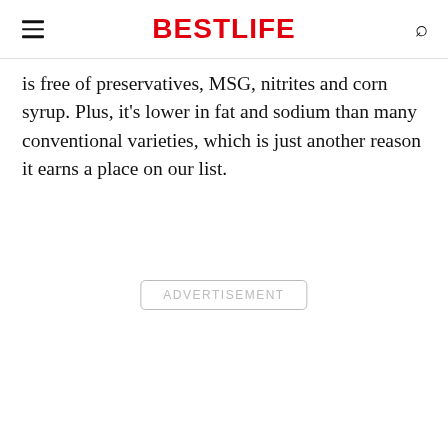BESTLIFE
is free of preservatives, MSG, nitrites and corn syrup. Plus, it's lower in fat and sodium than many conventional varieties, which is just another reason it earns a place on our list.
ADVERTISEMENT